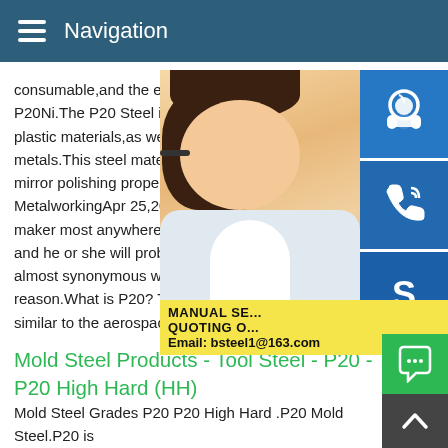Navigation
consumable,and the earliest is P20,followed by P20Ni.The P20 Steel is applicable to the p plastic materials,as well as those for dieca metals.This steel material features great m mirror polishing properties.Mold steel - P2 MetalworkingApr 25,2013 mould steel p20 maker most anywhere whats the most com and he or she will probably say,P20 withou almost synonymous with injection mold ste reason.What is P20? The popular materia similar to the aerospace 41XX chromoly st...
[Figure (photo): Customer service representative woman with headset, overlaid with blue icons for support, phone, and Skype, and a yellow promotional box with text MANUAL SE... QUOTING O... Email: bsteel1@163.com]
Mold Steel Products - Tool Steel - P20 - P20 High Hard (HH)
Mold Steel Grades P20 P20 High Hard .P20 Mold Steel.P20 is low-alloy tool steel typically used for plastic injection mold cavi and die casting dies.P20 is typically sold in annealed condition...